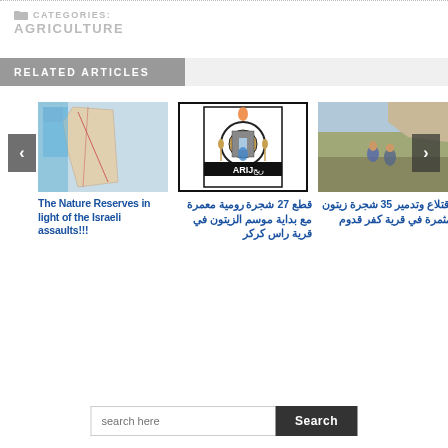CATEGORIES: AGRICULTURE
RELATED ARTICLES
[Figure (photo): Map showing nature reserves in Israel/Palestine region]
The Nature Reserves in light of the Israeli assaults!!!
[Figure (logo): ARIJ organization logo with Arabic text]
قطع 27 شجرة رومية معمرة مع بداية موسم الزيتون في قرية راس كركر
[Figure (photo): Two people working in a field with rocky terrain]
اقتلاع وتدمير 35 شجرة زيتون مثمرة في قرية كفر قدوم